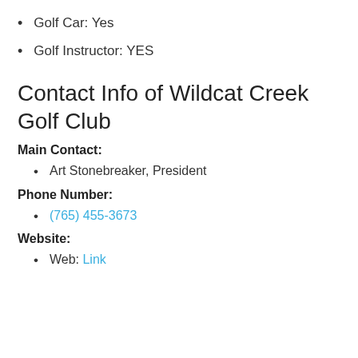Golf Car: Yes
Golf Instructor: YES
Contact Info of Wildcat Creek Golf Club
Main Contact:
Art Stonebreaker, President
Phone Number:
(765) 455-3673
Website:
Web: Link